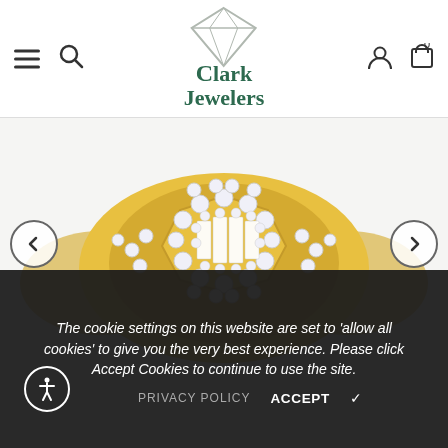Clark Jewelers — navigation header with hamburger menu, search, logo, account icon, and cart
[Figure (photo): Close-up photo of a yellow gold diamond ring featuring baguette-cut diamonds in the center surrounded by a halo of round brilliant diamonds, with additional diamonds along the band. Left and right navigation arrows visible.]
The cookie settings on this website are set to 'allow all cookies' to give you the very best experience. Please click Accept Cookies to continue to use the site.
PRIVACY POLICY   ACCEPT ✓